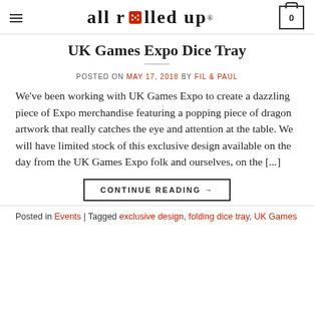All Rolled Up® [logo with dice icon] [cart: 0]
UK Games Expo Dice Tray
POSTED ON MAY 17, 2018 BY FIL & PAUL
We've been working with UK Games Expo to create a dazzling piece of Expo merchandise featuring a popping piece of dragon artwork that really catches the eye and attention at the table. We will have limited stock of this exclusive design available on the day from the UK Games Expo folk and ourselves, on the [...]
CONTINUE READING →
Posted in Events | Tagged exclusive design, folding dice tray, UK Games Expo